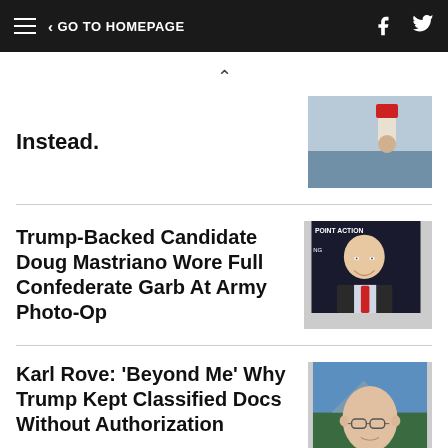≡  ‹ GO TO HOMEPAGE
Instead.
[Figure (photo): Person holding something red near water]
Trump-Backed Candidate Doug Mastriano Wore Full Confederate Garb At Army Photo-Op
[Figure (photo): Bald smiling man in suit with red tie holding microphone at Turning Point Action event]
Karl Rove: 'Beyond Me' Why Trump Kept Classified Docs Without Authorization
[Figure (photo): Bald man with glasses in front of mountain/outdoor background]